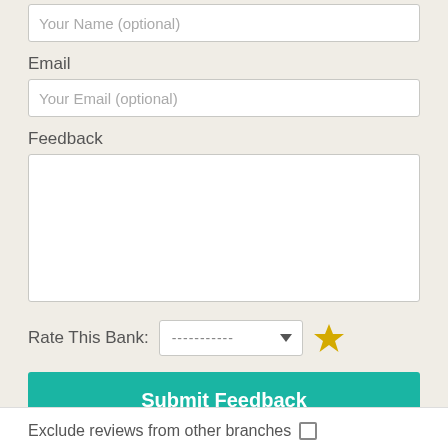Your Name (optional)
Email
Your Email (optional)
Feedback
Rate This Bank:
Submit Feedback
Exclude reviews from other branches